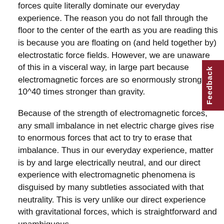forces quite literally dominate our everyday experience. The reason you do not fall through the floor to the center of the earth as you are reading this is because you are floating on (and held together by) electrostatic force fields. However, we are unaware of this in a visceral way, in large part because electromagnetic forces are so enormously strong, 10^40 times stronger than gravity.
Because of the strength of electromagnetic forces, any small imbalance in net electric charge gives rise to enormous forces that act to try to erase that imbalance. Thus in our everyday experience, matter is by and large electrically neutral, and our direct experience with electromagnetic phenomena is disguised by many subtleties associated with that neutrality. This is very unlike our direct experience with gravitational forces, which is straightforward and unambiguous.